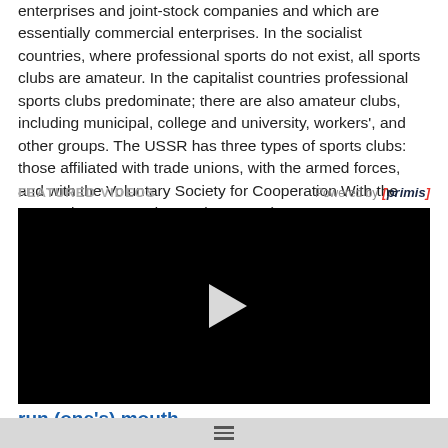enterprises and joint-stock companies and which are essentially commercial enterprises. In the socialist countries, where professional sports do not exist, all sports clubs are amateur. In the capitalist countries professional sports clubs predominate; there are also amateur clubs, including municipal, college and university, workers', and other groups. The USSR has three types of sports clubs: those affiliated with trade unions, with the armed forces, and with the Voluntary Society for Cooperation With the Army, Air Force, and Navy (DOSAAF).
[Figure (screenshot): Video player with black background and white play button triangle in center. Header shows 'FEATURED VIDEOS' label on left and 'Powered by [primis]' on right.]
run (one's) mouth
To talk profusely, especially in an antagonizing way.